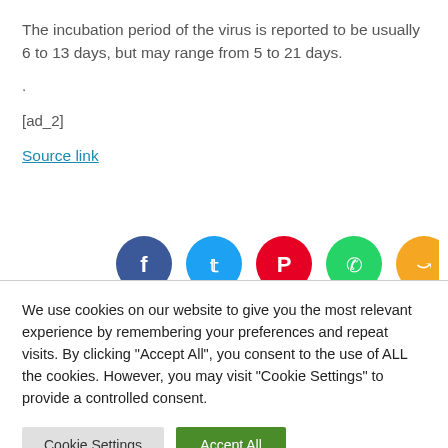The incubation period of the virus is reported to be usually 6 to 13 days, but may range from 5 to 21 days.
.
[ad_2]
Source link
[Figure (other): Social media share icons: Facebook (blue circle), Twitter (light blue circle), Pinterest (red circle), WhatsApp (green circle), Share (orange circle)]
We use cookies on our website to give you the most relevant experience by remembering your preferences and repeat visits. By clicking “Accept All”, you consent to the use of ALL the cookies. However, you may visit "Cookie Settings" to provide a controlled consent.